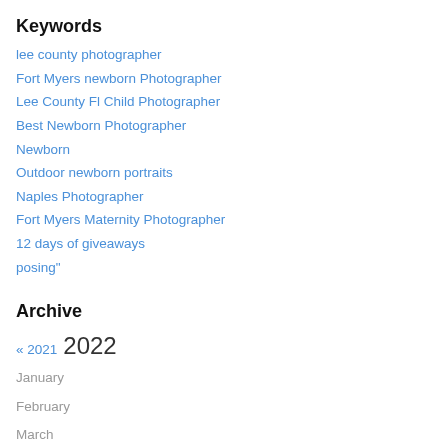Keywords
lee county photographer
Fort Myers newborn Photographer
Lee County Fl Child Photographer
Best Newborn Photographer
Newborn
Outdoor newborn portraits
Naples Photographer
Fort Myers Maternity Photographer
12 days of giveaways
posing"
Archive
« 2021 2022
January
February
March
April
May
June